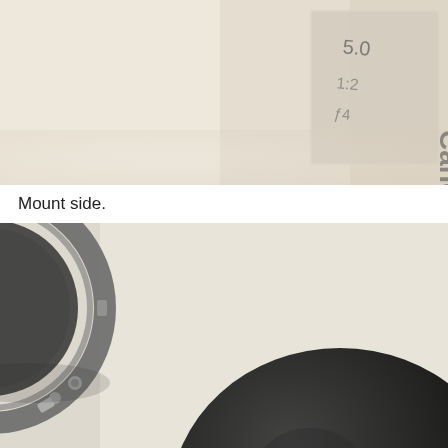[Figure (photo): Close-up photo of a Canon lens or equipment showing a label with 'Canon' text printed on it, against a light beige/cream background. The label shows partial text including what appears to be aperture or focal length markings.]
Mount side.
[Figure (photo): Close-up photo of a camera lens mount side, showing the metal lens mount ring with circular bayonet mount mechanism on the left side, and a large rounded black lens element visible at the bottom right, against a light cream/beige background.]